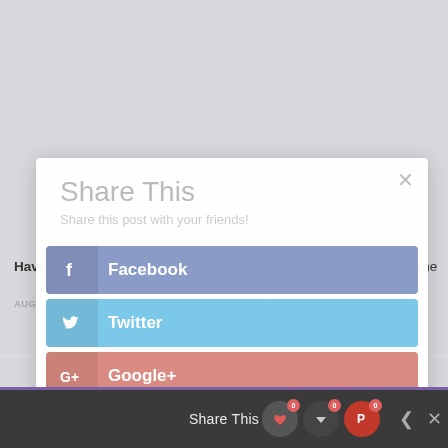Share This
Share this post with your friends!
Have you tried a bit of Bum Fun
AUGUST 22, 2013
The First Time You Saw Porn the
stories
JANUARY 20, 2014
[Figure (screenshot): Social share modal with Facebook, Twitter, Google+, and Reddit buttons overlaid on a webpage]
Share This
Share This  0  0  0  ×